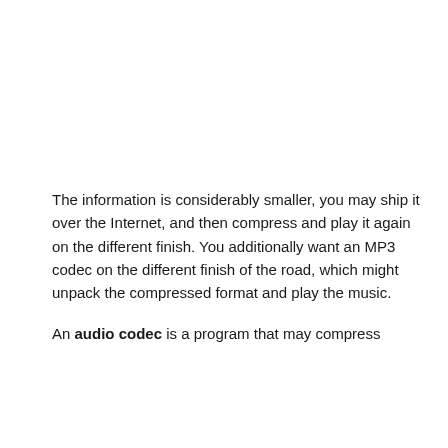The information is considerably smaller, you may ship it over the Internet, and then compress and play it again on the different finish. You additionally want an MP3 codec on the different finish of the road, which might unpack the compressed format and play the music.
An audio codec is a program that may compress